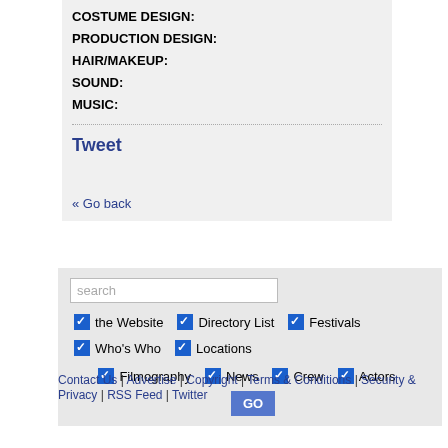COSTUME DESIGN:
PRODUCTION DESIGN:
HAIR/MAKEUP:
SOUND:
MUSIC:
Tweet
« Go back
search
the Website  Directory List  Festivals  Who's Who  Locations  Filmography  News  Crew  Actors  GO
Contact Us | Advertise | Copyright | Terms & Conditions | Security & Privacy | RSS Feed | Twitter